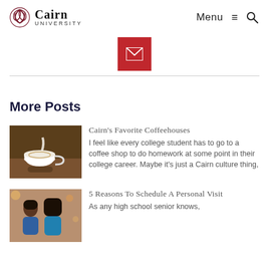Cairn University — Menu | Search
[Figure (other): Red email/envelope button icon]
More Posts
[Figure (photo): A hand pouring milk into a latte coffee cup with latte art, on a wooden tray]
Cairn's Favorite Coffeehouses
I feel like every college student has to go to a coffee shop to do homework at some point in their college career. Maybe it's just a Cairn culture thing,
[Figure (photo): Two young women sitting together in a warmly lit room]
5 Reasons To Schedule A Personal Visit
As any high school senior knows,